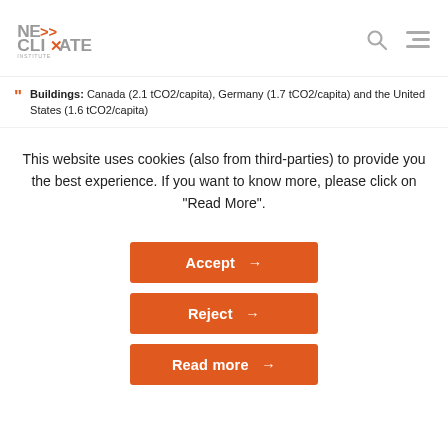NewClimate Institute
Buildings: Canada (2.1 tCO2/capita), Germany (1.7 tCO2/capita) and the United States (1.6 tCO2/capita)
This website uses cookies (also from third-parties) to provide you the best experience. If you want to know more, please click on "Read More".
Accept →
Reject →
Read more →